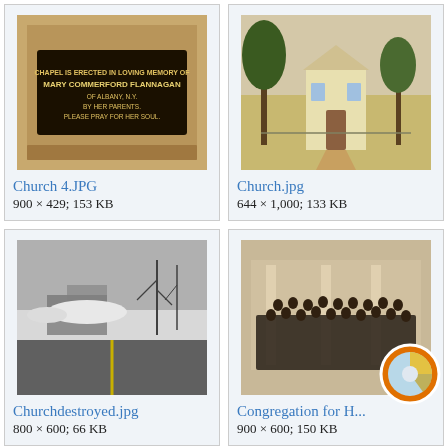[Figure (photo): Thumbnail of Church 4.JPG - a plaque or memorial stone reading CHAPEL IS ERECTED IN LOVING MEMORY OF MARY COMMERFORD FLANNAGAN OF ALBANY, N.Y. BY HER PARENTS. PLEASE PRAY FOR HER SOUL.]
Church 4.JPG
900 × 429; 153 KB
[Figure (photo): Thumbnail of Church.jpg - a colorized vintage postcard showing a church building with trees]
Church.jpg
644 × 1,000; 133 KB
[Figure (photo): Thumbnail of Churchdestroyed.jpg - a black and white photo of a destroyed/demolished church in winter with snow]
Churchdestroyed.jpg
800 × 600; 66 KB
[Figure (photo): Thumbnail of Congregation for H... - a sepia-toned group photo of a congregation standing outside a church building, with a pie-chart-style loading/usage icon overlay in orange and blue]
Congregation for H...
900 × 600; 150 KB